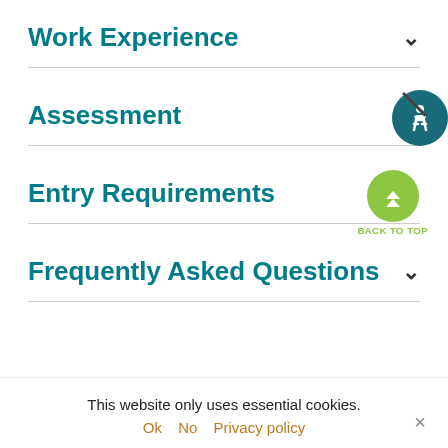Work Experience
Assessment
Entry Requirements
Frequently Asked Questions
This website only uses essential cookies.
Ok   No   Privacy policy